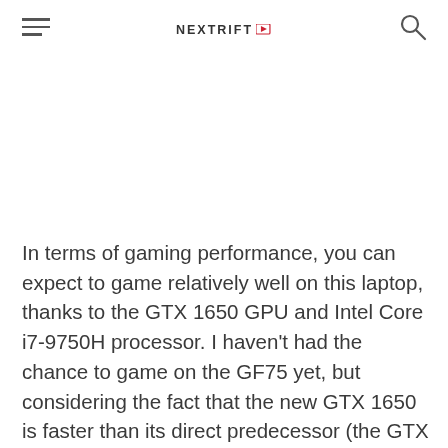NEXTRIFT
In terms of gaming performance, you can expect to game relatively well on this laptop, thanks to the GTX 1650 GPU and Intel Core i7-9750H processor. I haven't had the chance to game on the GF75 yet, but considering the fact that the new GTX 1650 is faster than its direct predecessor (the GTX 1050 Ti), it should be powerful enough to